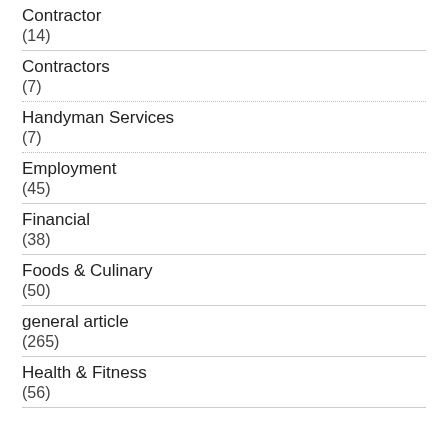Contractor
(14)
Contractors
(7)
Handyman Services
(7)
Employment
(45)
Financial
(38)
Foods & Culinary
(50)
general article
(265)
Health & Fitness
(56)